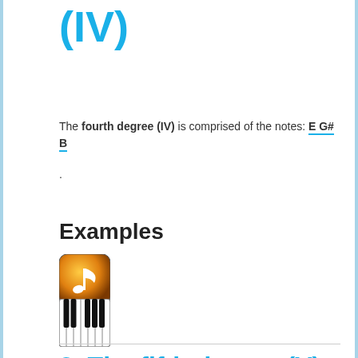(IV)
The fourth degree (IV) is comprised of the notes: E G# B
.
Examples
[Figure (illustration): Audio/music note icon - orange gradient square with musical note]
[Figure (illustration): Piano keyboard icon - black and white keys]
3. The fifth degree (V)